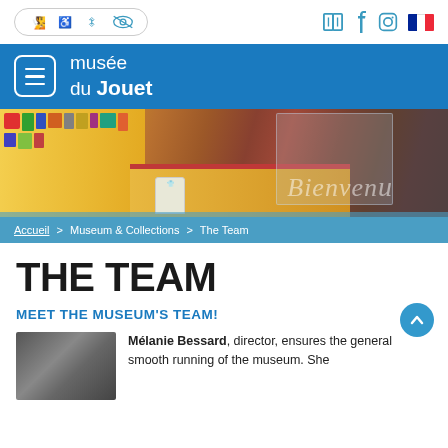Accessibility icons | Social icons (book, Facebook, Instagram) | French flag
[Figure (screenshot): Musée du Jouet navigation bar with hamburger menu and blue background]
[Figure (photo): Interior of Musée du Jouet showing yellow shelves, reception desk with Bienvenue text, and merchandise]
Accueil > Museum & Collections > The Team
THE TEAM
MEET THE MUSEUM'S TEAM!
Mélanie Bessard, director, ensures the general smooth running of the museum. She